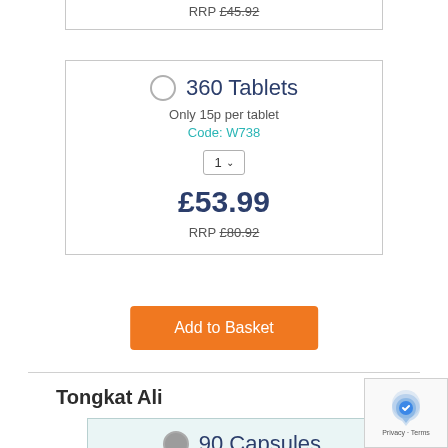RRP £45.92
360 Tablets
Only 15p per tablet
Code: W738
1
£53.99
RRP £80.92
Add to Basket
Tongkat Ali
90 Capsules
Only 28p per capsule
Code: W760
1
£24.99
RRP £40.95